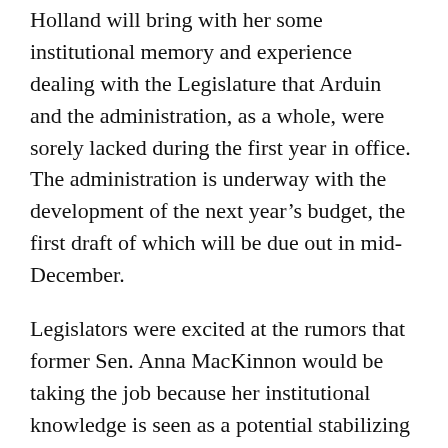Holland will bring with her some institutional memory and experience dealing with the Legislature that Arduin and the administration, as a whole, were sorely lacked during the first year in office. The administration is underway with the development of the next year's budget, the first draft of which will be due out in mid-December.
Legislators were excited at the rumors that former Sen. Anna MacKinnon would be taking the job because her institutional knowledge is seen as a potential stabilizing force for what has been a tumultuous first year in office for the governor.
MacKinnon's prohibited from taking the position due to the Alaska Constitution's one-year ban on legislators taking a position that they helped create or helped approve a pay raise for during any time in office. MacKinnon wouldn't be eligible —barring a reinterpretation of the Alaska